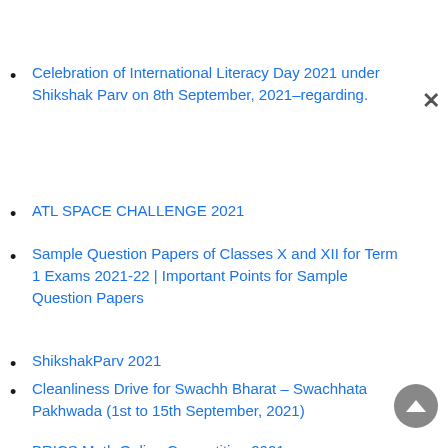Celebration of International Literacy Day 2021 under Shikshak Parv on 8th September, 2021–regarding.
ATL SPACE CHALLENGE 2021
Sample Question Papers of Classes X and XII for Term 1 Exams 2021-22 | Important Points for Sample Question Papers
ShikshakParv 2021
Cleanliness Drive for Swachh Bharat – Swachhata Pakhwada (1st to 15th September, 2021)
BRICS Math Online Competition 2021